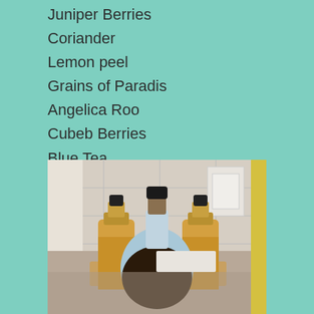Juniper Berries
Coriander
Lemon peel
Grains of Paradis
Angelica Roo
Cubeb Berries
Blue Tea
[Figure (photo): Three glass bottles on a wooden board against a tile backsplash. The center bottle is a large round decanter with a black cork stopper containing a dark brown liquid. The left and right bottles are smaller with black caps containing an amber/golden liquid.]